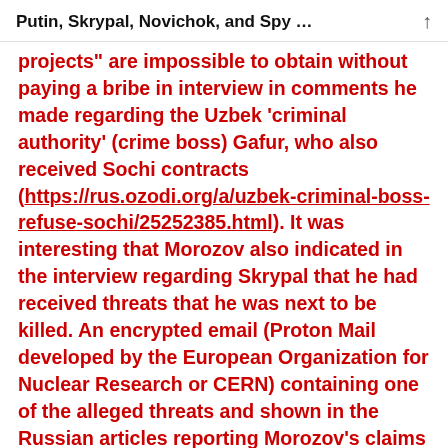Putin, Skrypal, Novichok, and Spy …
projects" are impossible to obtain without paying a bribe in interview in comments he made regarding the Uzbek 'criminal authority' (crime boss) Gafur, who also received Sochi contracts (https://rus.ozodi.org/a/uzbek-criminal-boss-refuse-sochi/25252385.html). It was interesting that Morozov also indicated in the interview regarding Skrypal that he had received threats that he was next to be killed. An encrypted email (Proton Mail developed by the European Organization for Nuclear Research or CERN) containing one of the alleged threats and shown in the Russian articles reporting Morozov's claims of Skrypal's criminal ties came from one